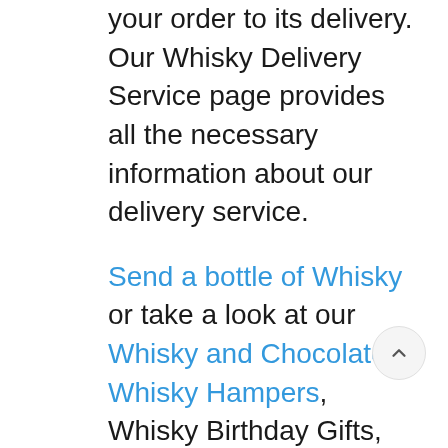your order to its delivery. Our Whisky Delivery Service page provides all the necessary information about our delivery service.
Send a bottle of Whisky or take a look at our Whisky and Chocolates, Whisky Hampers, Whisky Birthday Gifts, Whisky Thank You Gifts, Whisky Congratulations Gifts or even our Whisky Father's Day Gifts.
There's no better place to go for Whisky gifts. Whether for a mum, dad, brother, sister, boyfriend, girlfriend, husband, wife, grandma, grandad,